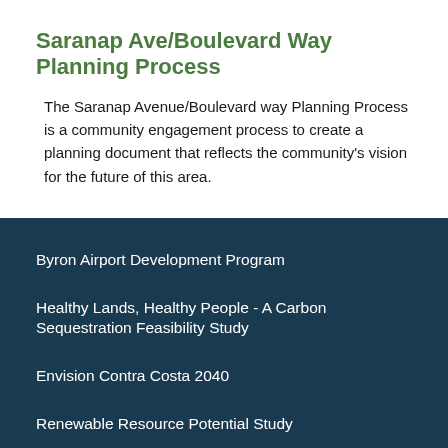Saranap Ave/Boulevard Way Planning Process
The Saranap Avenue/Boulevard way Planning Process is a community engagement process to create a planning document that reflects the community's vision for the future of this area.
Byron Airport Development Program
Healthy Lands, Healthy People - A Carbon Sequestration Feasibility Study
Envision Contra Costa 2040
Renewable Resource Potential Study
Saranap Address Change
Saranap Ave/Boulevard Way Planning Process